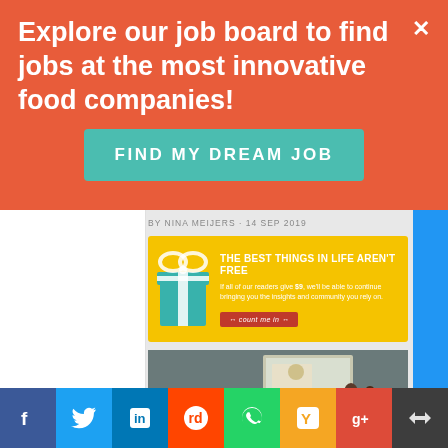Explore our job board to find jobs at the most innovative food companies!
FIND MY DREAM JOB
BY NINA MEIJERS · 14 SEP 2019
[Figure (infographic): Yellow donation banner with gift box icon. Title: THE BEST THINGS IN LIFE AREN'T FREE. Body: If all of our readers give $9, we'll be able to continue bringing you the insights and community you rely on. Button: count me in]
[Figure (photo): Crowd of people seated at a conference/event watching a presentation on screen. Caption: THE BUSINESS OF ALTERNATIVE PROTEIN]
THE BUSINESS OF ALTERNATIVE PROTEIN
Facebook | Twitter | LinkedIn | Reddit | WhatsApp | Y Combinator | Google+ | Crown